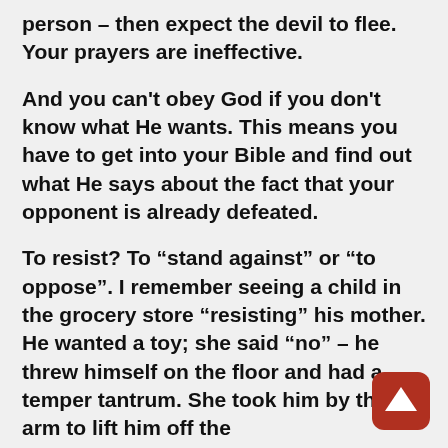person – then expect the devil to flee. Your prayers are ineffective.
And you can't obey God if you don't know what He wants. This means you have to get into your Bible and find out what He says about the fact that your opponent is already defeated.
To resist? To “stand against” or “to oppose”. I remember seeing a child in the grocery store “resisting” his mother. He wanted a toy; she said “no” – he threw himself on the floor and had a temper tantrum. She took him by the arm to lift him off the
[Figure (other): Red rounded square button with white upward arrow icon]